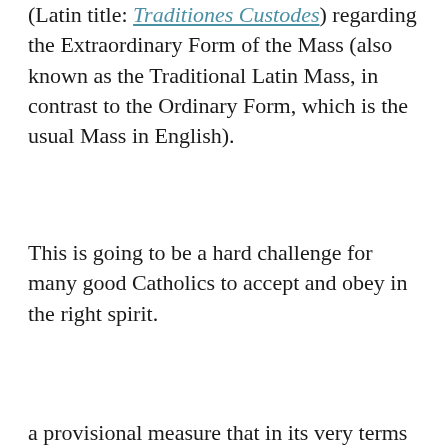(Latin title: Traditiones Custodes) regarding the Extraordinary Form of the Mass (also known as the Traditional Latin Mass, in contrast to the Ordinary Form, which is the usual Mass in English).
This is going to be a hard challenge for many good Catholics to accept and obey in the right spirit.
Privacy & Cookies: This site uses cookies. By continuing to use this website, you agree to their use. To find out more, including how to control cookies, see here: Cookie Policy
Close and accept
a provisional measure that in its very terms